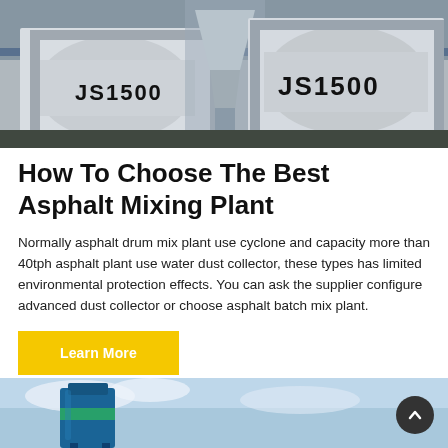[Figure (photo): Photo of two JS1500 concrete mixer machines in a factory/warehouse setting, with heavy industrial equipment visible.]
How To Choose The Best Asphalt Mixing Plant
Normally asphalt drum mix plant use cyclone and capacity more than 40tph asphalt plant use water dust collector, these types has limited environmental protection effects. You can ask the supplier configure advanced dust collector or choose asphalt batch mix plant.
[Figure (photo): Partial photo of blue industrial silo or tank structure against a cloudy sky, visible at bottom of page.]